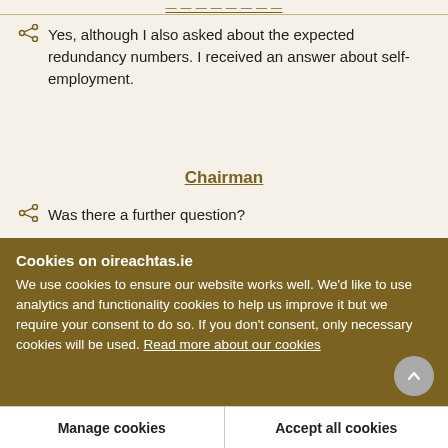[truncated link/navigation bar]
Yes, although I also asked about the expected redundancy numbers. I received an answer about self-employment.
Chairman
Was there a further question?
Cookies on oireachtas.ie
We use cookies to ensure our website works well. We'd like to use analytics and functionality cookies to help us improve it but we require your consent to do so. If you don't consent, only necessary cookies will be used. Read more about our cookies
Manage cookies
Accept all cookies